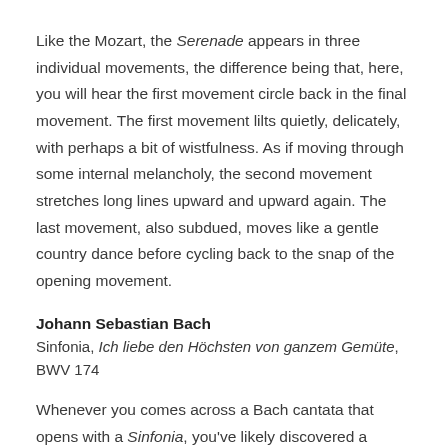Like the Mozart, the Serenade appears in three individual movements, the difference being that, here, you will hear the first movement circle back in the final movement. The first movement lilts quietly, delicately, with perhaps a bit of wistfulness. As if moving through some internal melancholy, the second movement stretches long lines upward and upward again. The last movement, also subdued, moves like a gentle country dance before cycling back to the snap of the opening movement.
Johann Sebastian Bach
Sinfonia, Ich liebe den Höchsten von ganzem Gemüte, BWV 174
Whenever you comes across a Bach cantata that opens with a Sinfonia, you've likely discovered a Sunday on which the choir was free on break (mind you, it wasn't that common). In this particular case, for Ich liebe den Höchsten von ganzem